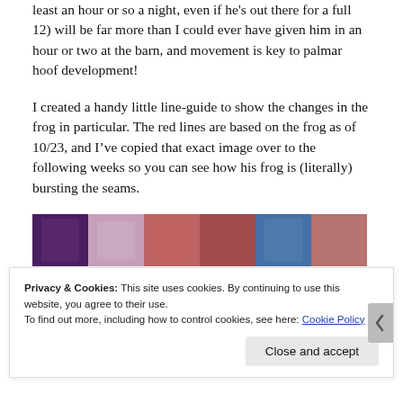least an hour or so a night, even if he's out there for a full 12) will be far more than I could ever have given him in an hour or two at the barn, and movement is key to palmar hoof development!
I created a handy little line-guide to show the changes in the frog in particular. The red lines are based on the frog as of 10/23, and I've copied that exact image over to the following weeks so you can see how his frog is (literally) bursting the seams.
[Figure (photo): A horizontal strip of photos showing close-up images of horse hooves in varying colors — purple, pink, maroon, blue — likely showing frog development over time.]
Privacy & Cookies: This site uses cookies. By continuing to use this website, you agree to their use.
To find out more, including how to control cookies, see here: Cookie Policy